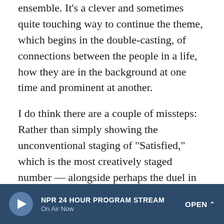ensemble. It's a clever and sometimes quite touching way to continue the theme, which begins in the double-casting, of connections between the people in a life, how they are in the background at one time and prominent at another.
I do think there are a couple of missteps: Rather than simply showing the unconventional staging of "Satisfied," which is the most creatively staged number — alongside perhaps the duel in the finale — Kail seems to have tried to come up with a filming technique that would provide, via filming and editing, the disorienting effect that staging had. They should've just filmed it, with its tremendous performance by Renée Elise Goldsberry; you lose something here that's special. I would say the same about the side-by-side two-chair staging of "Dear Theodosia," in that I'd have messed
NPR 24 HOUR PROGRAM STREAM — On Air Now — OPEN